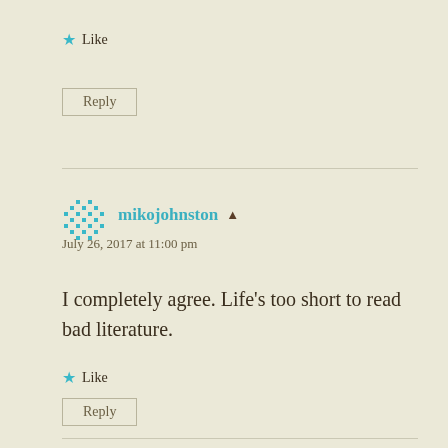Like
Reply
mikojohnston
July 26, 2017 at 11:00 pm
I completely agree. Life’s too short to read bad literature.
Like
Reply